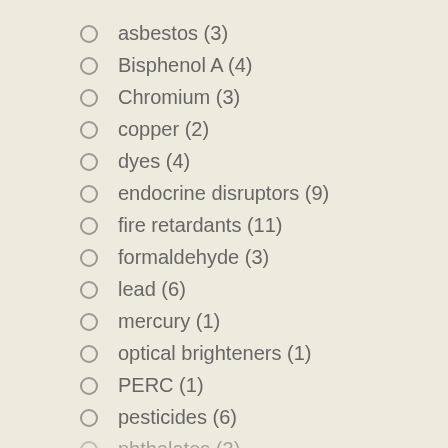asbestos (3)
Bisphenol A (4)
Chromium (3)
copper (2)
dyes (4)
endocrine disruptors (9)
fire retardants (11)
formaldehyde (3)
lead (6)
mercury (1)
optical brighteners (1)
PERC (1)
pesticides (6)
phthalates (3)